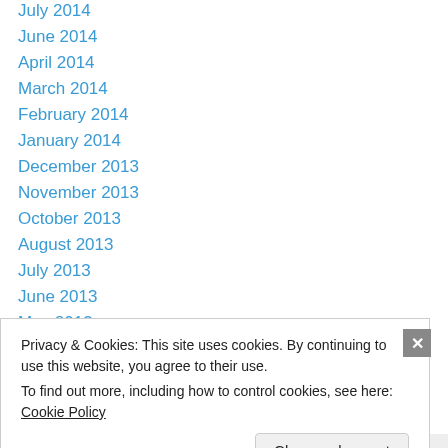July 2014
June 2014
April 2014
March 2014
February 2014
January 2014
December 2013
November 2013
October 2013
August 2013
July 2013
June 2013
May 2013
April 2013
Privacy & Cookies: This site uses cookies. By continuing to use this website, you agree to their use. To find out more, including how to control cookies, see here: Cookie Policy
Close and accept